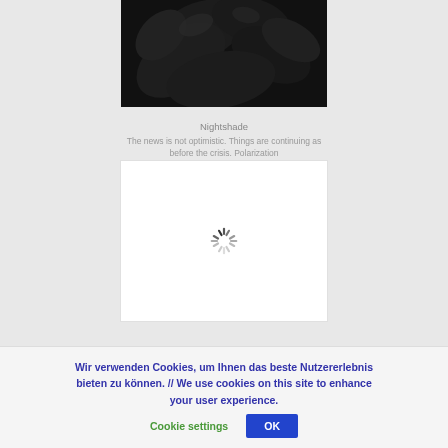[Figure (photo): Dark nightshade plant photograph with dark background]
Nightshade
The news is not optimistic. Things are continuing as before the crisis. Polarization continuing as before. The crisis spread...
[Figure (other): Loading spinner on white background]
Wir verwenden Cookies, um Ihnen das beste Nutzererlebnis bieten zu können. // We use cookies on this site to enhance your user experience.
Cookie settings
OK